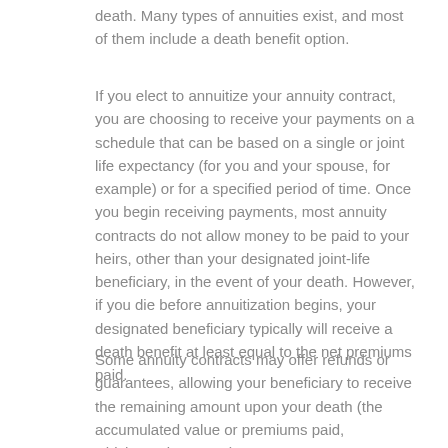death. Many types of annuities exist, and most of them include a death benefit option.
If you elect to annuitize your annuity contract, you are choosing to receive your payments on a schedule that can be based on a single or joint life expectancy (for you and your spouse, for example) or for a specified period of time. Once you begin receiving payments, most annuity contracts do not allow money to be paid to your heirs, other than your designated joint-life beneficiary, in the event of your death. However, if you die before annuitization begins, your designated beneficiary typically will receive a death benefit at least equal to the net premiums paid.
Some annuity contracts may offer refunds or guarantees, allowing your beneficiary to receive the remaining amount upon your death (the accumulated value or premiums paid, whichever is greater).